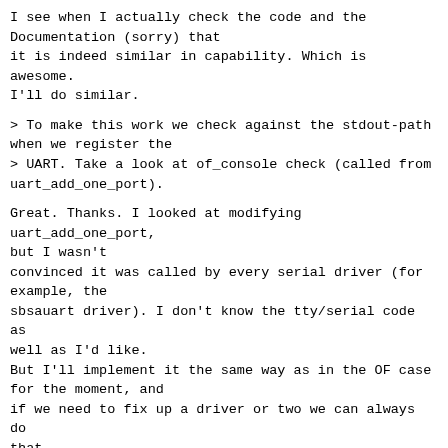I see when I actually check the code and the Documentation (sorry) that it is indeed similar in capability. Which is awesome. I'll do similar.
> To make this work we check against the stdout-path when we register the > UART. Take a look at of_console check (called from uart_add_one_port).
Great. Thanks. I looked at modifying uart_add_one_port, but I wasn't convinced it was called by every serial driver (for example, the sbsauart driver). I don't know the tty/serial code as well as I'd like. But I'll implement it the same way as in the OF case for the moment, and if we need to fix up a driver or two we can always do that.
> Assuming your UART probing looks similar for ACPI, you can have an > analagous function that goes and checks uport->dev.acpi_dev_node against > entires in the SPCR, configuring the UART as required at this point at > registration time.
> This requires that you parse the SPCR earlier, but